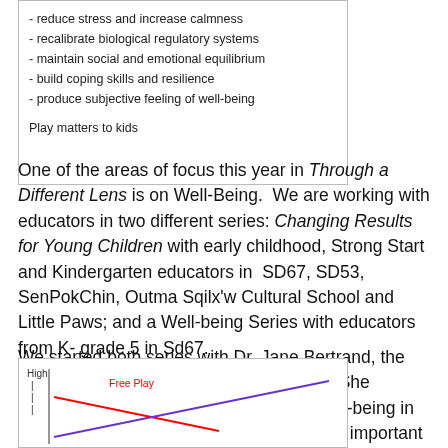[Figure (other): Box with bullet list about play benefits including 'recalibrate biological regulatory systems', 'maintain social and emotional equilibrium', 'build coping skills and resilience', 'produce subjective feeling of well-being', and 'Play matters to kids']
One of the areas of focus this year in Through a Different Lens is on Well-Being.  We are working with educators in two different series: Changing Results for Young Children with early childhood, Strong Start and Kindergarten educators in  SD67, SD53, SenPokChin, Outma Sqilx'w Cultural School and Little Paws; and a Well-being Series with educators from K- grade 5 in Sd67.
We started both series with Dr. Jane Bertrand, the author of the new BC Resource on Play.  She described how play is so important for well-being in children, youth and adults; and that play is important to children and they learn a great deal from it.
[Figure (line-chart): Chart showing Free Play trend lines, with 'High' label on y-axis, showing two lines crossing]